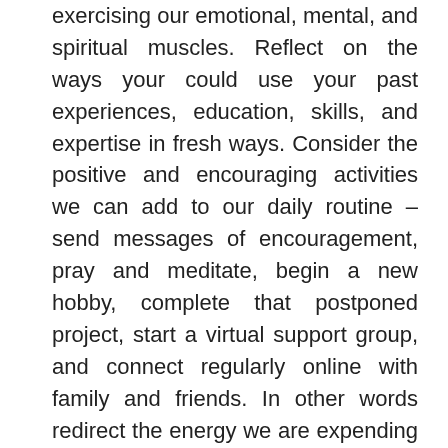exercising our emotional, mental, and spiritual muscles. Reflect on the ways your could use your past experiences, education, skills, and expertise in fresh ways. Consider the positive and encouraging activities we can add to our daily routine – send messages of encouragement, pray and meditate, begin a new hobby, complete that postponed project, start a virtual support group, and connect regularly online with family and friends. In other words redirect the energy we are expending by worrying about the pandemic to beneficial, meaningful activities.
Third, network. Maintain and nurture your personal and professional relationships.